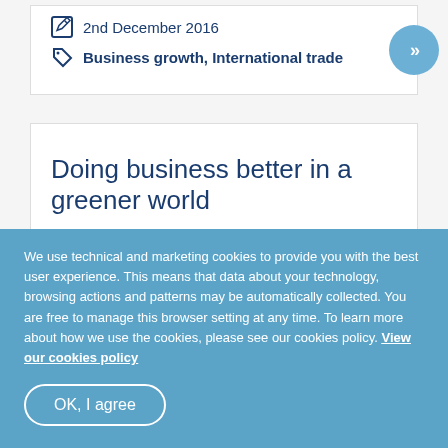2nd December 2016
Business growth, International trade
Doing business better in a greener world
We use technical and marketing cookies to provide you with the best user experience. This means that data about your technology, browsing actions and patterns may be automatically collected. You are free to manage this browser setting at any time. To learn more about how we use the cookies, please see our cookies policy. View our cookies policy
OK, I agree